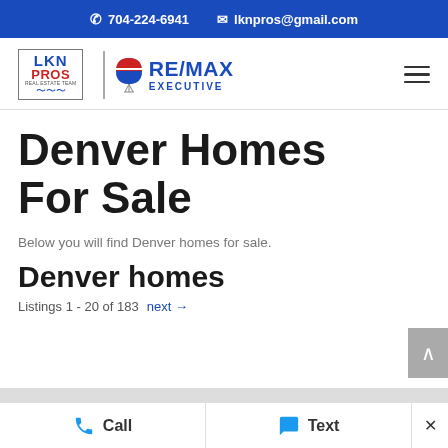704-224-6941   lknpros@gmail.com
[Figure (logo): LKN PROS Real Estate Team and RE/MAX Executive logos with navigation hamburger menu]
Denver Homes For Sale
Below you will find Denver homes for sale.
Denver homes
Listings 1 - 20 of 183   next →
Call   Text